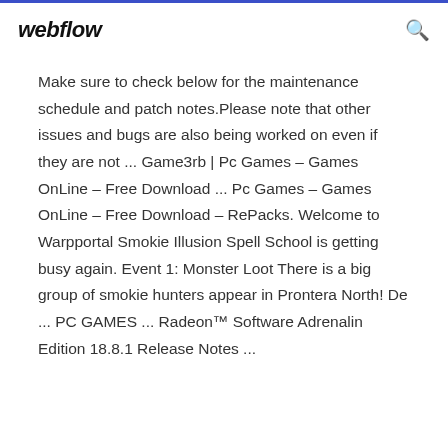webflow
Make sure to check below for the maintenance schedule and patch notes.Please note that other issues and bugs are also being worked on even if they are not ... Game3rb | Pc Games – Games OnLine – Free Download ... Pc Games – Games OnLine – Free Download – RePacks. Welcome to Warpportal Smokie Illusion Spell School is getting busy again. Event 1: Monster Loot There is a big group of smokie hunters appear in Prontera North! De ... PC GAMES ... Radeon™ Software Adrenalin Edition 18.8.1 Release Notes ...